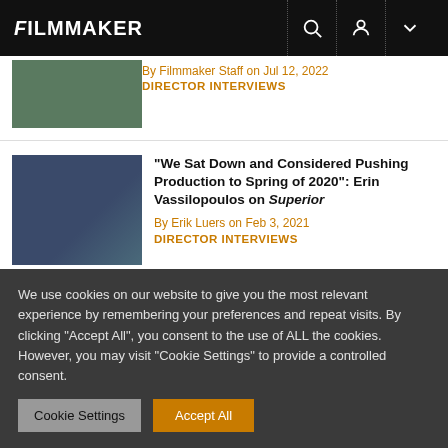FILMMAKER
By Filmmaker Staff on Jul 12, 2022
DIRECTOR INTERVIEWS
“We Sat Down and Considered Pushing Production to Spring of 2020”: Erin Vassilopoulos on Superior
By Erik Luers on Feb 3, 2021
DIRECTOR INTERVIEWS
[Figure (photo): Partial view of a dark background with a white star, bottom of page content area]
We use cookies on our website to give you the most relevant experience by remembering your preferences and repeat visits. By clicking “Accept All”, you consent to the use of ALL the cookies. However, you may visit “Cookie Settings” to provide a controlled consent.
Cookie Settings
Accept All